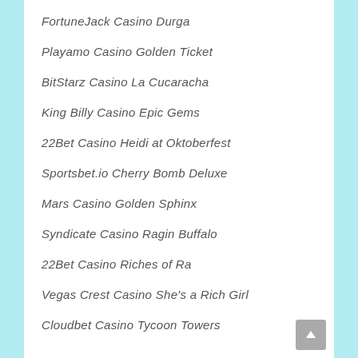FortuneJack Casino Durga
Playamo Casino Golden Ticket
BitStarz Casino La Cucaracha
King Billy Casino Epic Gems
22Bet Casino Heidi at Oktoberfest
Sportsbet.io Cherry Bomb Deluxe
Mars Casino Golden Sphinx
Syndicate Casino Ragin Buffalo
22Bet Casino Riches of Ra
Vegas Crest Casino She's a Rich Girl
Cloudbet Casino Tycoon Towers